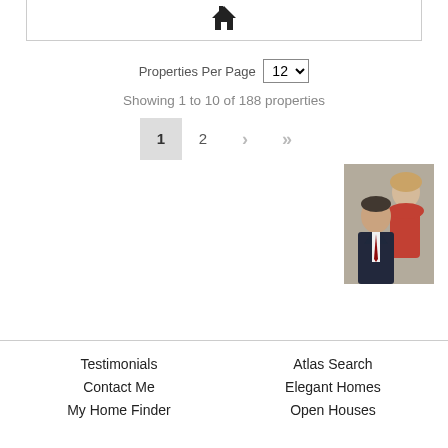[Figure (logo): House icon at top of page inside a bordered box]
Properties Per Page  12 ▼
Showing 1 to 10 of 188 properties
1  2  >  >|
[Figure (photo): Professional photo of a man and woman (real estate agents), man wearing a suit and tie, woman in red top]
Testimonials
Contact Me
My Home Finder
Atlas Search
Elegant Homes
Open Houses